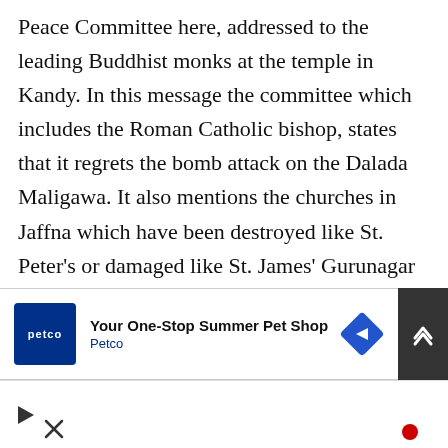Peace Committee here, addressed to the leading Buddhist monks at the temple in Kandy. In this message the committee which includes the Roman Catholic bishop, states that it regrets the bomb attack on the Dalada Maligawa. It also mentions the churches in Jaffna which have been destroyed like St. Peter's or damaged like St. James' Gurunagar by bombing. It therefore makes an appeal for earnest self-examination on all sides to discover how this violent society has come into being. I think that this is the first time that an official Tamil group in Jaffna has publicly
[Figure (other): Large X close button overlay on top-right of article text]
[Figure (other): Petco advertisement banner: logo, headline 'Your One-Stop Summer Pet Shop', subtext 'Petco', blue diamond arrow icon, and dark scroll-up button]
[Figure (other): Bottom bar with play triangle icon and X close icon, plus red circle indicator]